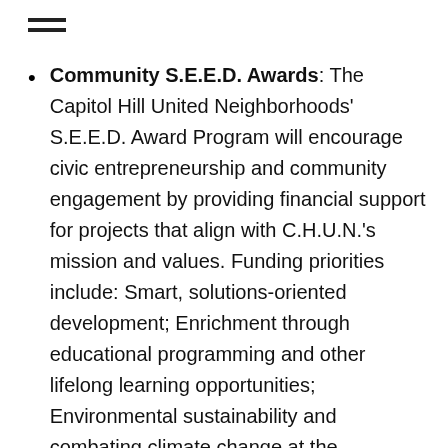≡
Community S.E.E.D. Awards: The Capitol Hill United Neighborhoods' S.E.E.D. Award Program will encourage civic entrepreneurship and community engagement by providing financial support for projects that align with C.H.U.N.'s mission and values. Funding priorities include: Smart, solutions-oriented development; Enrichment through educational programming and other lifelong learning opportunities; Environmental sustainability and combating climate change at the neighborhood level; and Diversity efforts that foster a more equitable, just community.
Deliver on the decades-old vision for Historic Tears-McFarlane House and Community Center: The historic Tears-McFarlane Mansion was built in